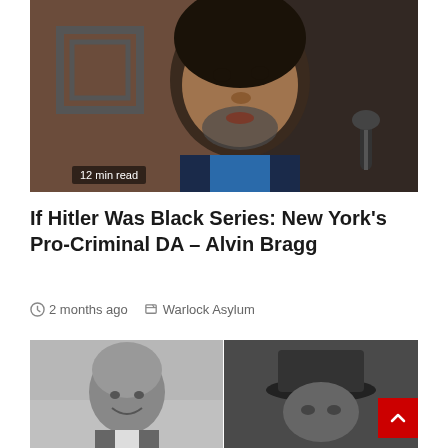[Figure (photo): Close-up photograph of a man with a goatee wearing a dark suit and blue shirt, looking upward, with a microphone visible in the background. A small overlay reads '12 min read'.]
If Hitler Was Black Series: New York’s Pro-Criminal DA – Alvin Bragg
⏱ 2 months ago ✎ Warlock Asylum
[Figure (photo): Side-by-side black and white photos: on the left, a smiling bald man in a suit; on the right, a figure wearing a hat, partially visible.]